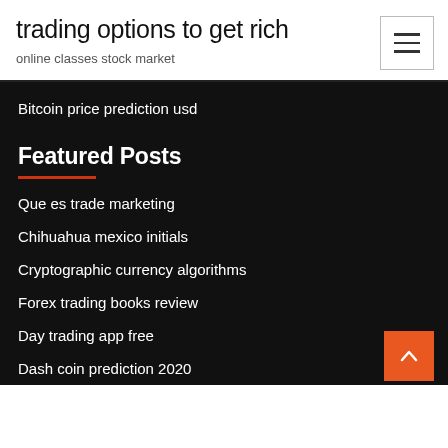trading options to get rich
online classes stock market
Bitcoin price prediction usd
Featured Posts
Que es trade marketing
Chihuahua mexico initials
Cryptographic currency algorithms
Forex trading books review
Day trading app free
Dash coin prediction 2020